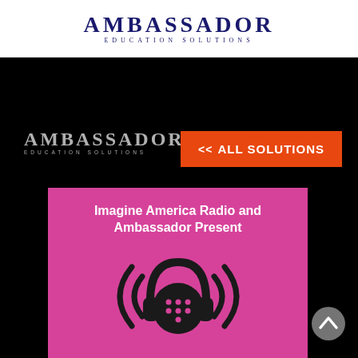[Figure (logo): Ambassador Education Solutions logo in dark blue serif lettering with 'EDUCATION SOLUTIONS' subtitle, displayed in white header bar]
[Figure (logo): Ambassador Education Solutions logo in gray/silver on black background, left side of page]
[Figure (other): Orange button with white bold text '<< ALL SOLUTIONS']
[Figure (illustration): Pink card with white bold text 'Imagine America Radio and Ambassador Present' above a stylized radio/headphone icon on a pink background]